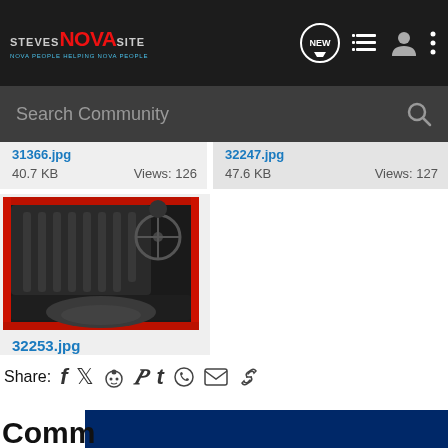Steves NOVA Site - Search Community
31366.jpg
40.7 KB   Views: 126
32247.jpg
47.6 KB   Views: 127
[Figure (photo): Car interior photo showing bench seat and dashboard of a classic Nova, with red trim visible]
32253.jpg
46 KB   Views: 124
Share:
Comm[ents]